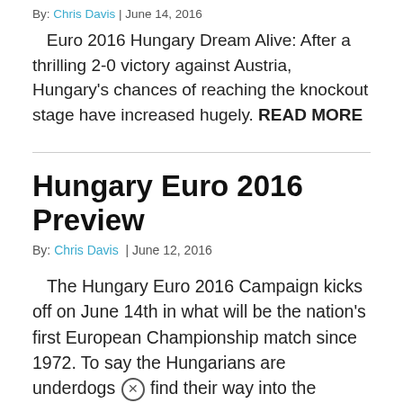By: Chris Davis | June 14, 2016
Euro 2016 Hungary Dream Alive: After a thrilling 2-0 victory against Austria, Hungary's chances of reaching the knockout stage have increased hugely. READ MORE
Hungary Euro 2016 Preview
By: Chris Davis | June 12, 2016
The Hungary Euro 2016 Campaign kicks off on June 14th in what will be the nation's first European Championship match since 1972. To say the Hungarians are underdogs to find their way into the knockout stages would be an understatement, but to dismiss the struggles they've overcome to qualify at all